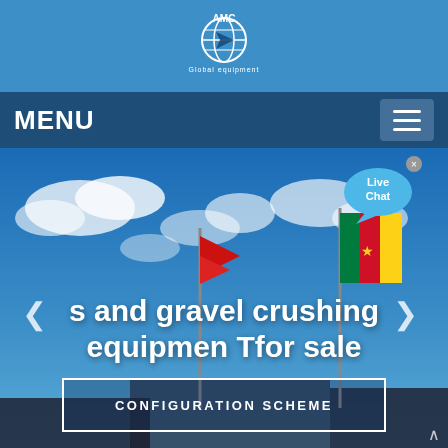[Figure (logo): AMC Global company logo — globe icon with 'AMC' text and 'Global equipment' subtitle, white on blue background]
MENU
[Figure (photo): Outdoor photo showing flags against a blue sky with clouds. Flags visible include the Cameroon flag (green, red, yellow with star) and red triangle flags. Text overlay reads 's and gravel crushing equipmen Tfor sale'. A blue live chat speech bubble appears in the upper right. Navigation arrows on sides. A 'CONFIGURATION SCHEME' button at the bottom.]
s and gravel crushing equipmen Tfor sale
CONFIGURATION SCHEME